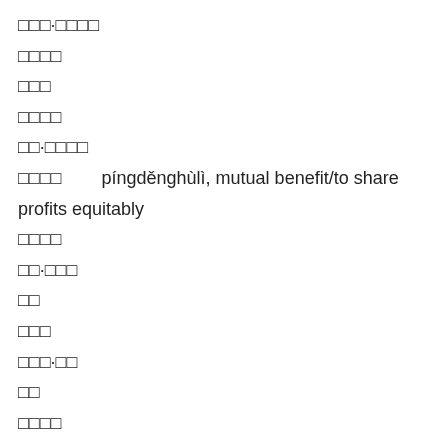□□□·□□□□
□□□□
□□□
□□□□
□□·□□□□
□□□□        píngděnghùlì, mutual benefit/to share profits equitably
□□□□
□□·□□□
□□
□□□
□□□·□□
□□
□□□□
□□·□
□□□·□□
□□□□·□□